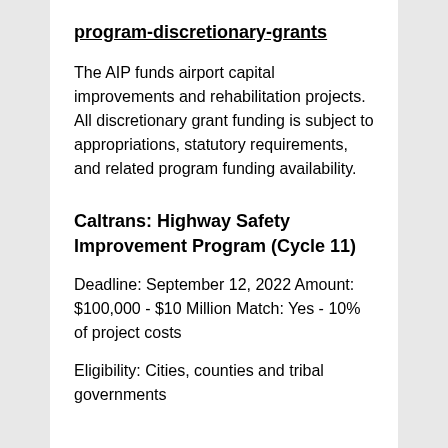program-discretionary-grants
The AIP funds airport capital improvements and rehabilitation projects. All discretionary grant funding is subject to appropriations, statutory requirements, and related program funding availability.
Caltrans: Highway Safety Improvement Program (Cycle 11)
Deadline: September 12, 2022 Amount: $100,000 - $10 Million Match: Yes - 10% of project costs
Eligibility: Cities, counties and tribal governments